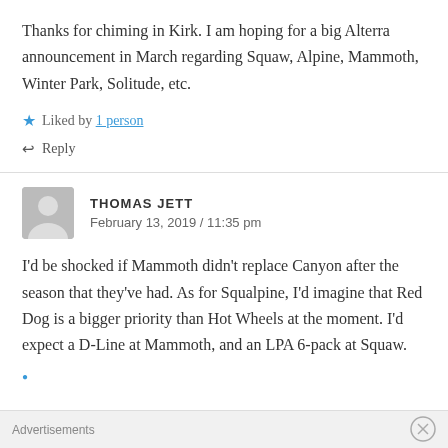Thanks for chiming in Kirk. I am hoping for a big Alterra announcement in March regarding Squaw, Alpine, Mammoth, Winter Park, Solitude, etc.
★ Liked by 1 person
↩ Reply
THOMAS JETT
February 13, 2019 / 11:35 pm
I'd be shocked if Mammoth didn't replace Canyon after the season that they've had. As for Squalpine, I'd imagine that Red Dog is a bigger priority than Hot Wheels at the moment. I'd expect a D-Line at Mammoth, and an LPA 6-pack at Squaw.
Advertisements